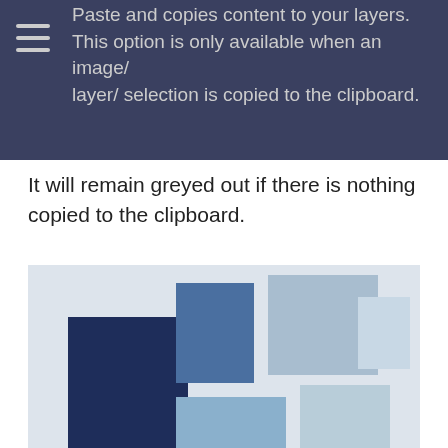Paste and copies content to your layers. This option is only available when an image/ layer/ selection is copied to the clipboard.
It will remain greyed out if there is nothing copied to the clipboard.
[Figure (photo): Multiple blue-toned square canvases of varying shades arranged on a light grey background, ranging from dark navy to very pale blue-grey.]
Canvas
Crop and resize
appy about your canvas size